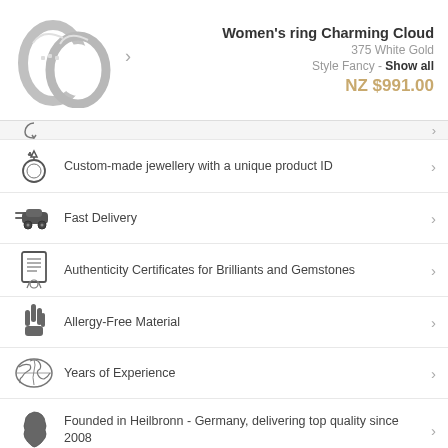Women's ring Charming Cloud
375 White Gold
Style Fancy - Show all
NZ $991.00
Custom-made jewellery with a unique product ID
Fast Delivery
Authenticity Certificates for Brilliants and Gemstones
Allergy-Free Material
Years of Experience
Founded in Heilbronn - Germany, delivering top quality since 2008
Direct from the source